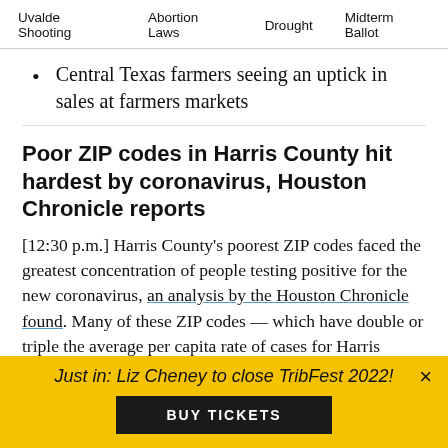Uvalde Shooting   Abortion Laws   Drought   Midterm Ballot
Central Texas farmers seeing an uptick in sales at farmers markets
Poor ZIP codes in Harris County hit hardest by coronavirus, Houston Chronicle reports
[12:30 p.m.] Harris County's poorest ZIP codes faced the greatest concentration of people testing positive for the new coronavirus, an analysis by the Houston Chronicle found. Many of these ZIP codes — which have double or triple the average per capita rate of cases for Harris County — contain predominantly black
Just in: Liz Cheney to close TribFest 2022!
BUY TICKETS